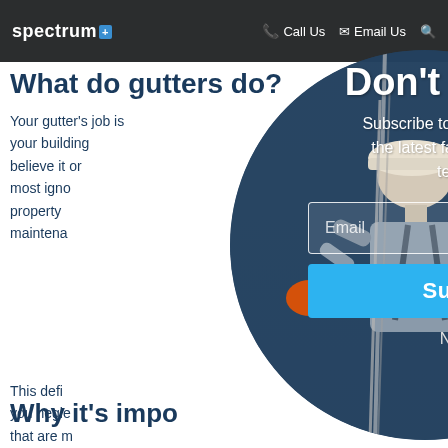spectrum+ | Call Us | Email Us | Search
What do gutters do?
Your gutter's job is to protect your building ... believe it or not, most ignored property maintenance ...
This definitely ... you neglect ... that are m... many leaves...
[Figure (photo): A worker wearing a hard hat and safety harness, working on a building facade, shown inside a circular modal overlay]
Don't Miss Out
Subscribe to stay up to date with the latest facade maintenance techniques.
Email
Subscribe
No, thanks
Why it's impo...